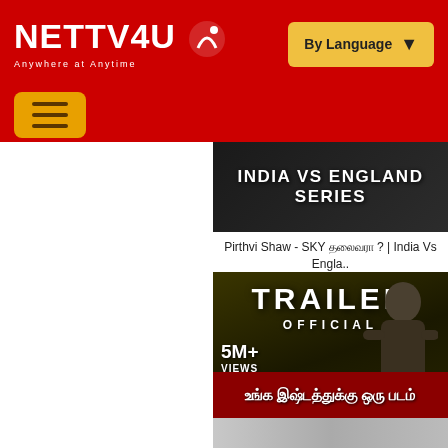[Figure (screenshot): NETTV4U website header with red background, logo on left, By Language button on right]
[Figure (screenshot): Hamburger menu button in yellow/orange on red background]
[Figure (screenshot): India vs England Series thumbnail - dark background with bold white text]
Pirthvi Shaw - SKY தலைவரா ? | India Vs Engla..
[Figure (screenshot): Yaanai Official Trailer thumbnail with 5M+ views, Tamil movie poster with actor]
Yaanai - Official Trailer | Hari | Arun Vijay | Pr..
[Figure (screenshot): Red banner with Tamil text: உங்க இஷ்டத்துக்கு ஒரு படம்]